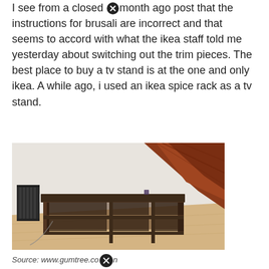I see from a closed [X] month ago post that the instructions for brusali are incorrect and that seems to accord with what the ikea staff told me yesterday about switching out the trim pieces. The best place to buy a tv stand is at the one and only ikea. A while ago, i used an ikea spice rack as a tv stand.
[Figure (photo): Photo of a dark brown wooden TV stand / console table with open shelving (6 compartments, 2 rows of 3), placed in a room with light wood flooring, a white wall, a black radiator on the left, and a diagonal wooden banister or door frame in dark reddish-brown on the upper right.]
Source: www.gumtree.co[X]n